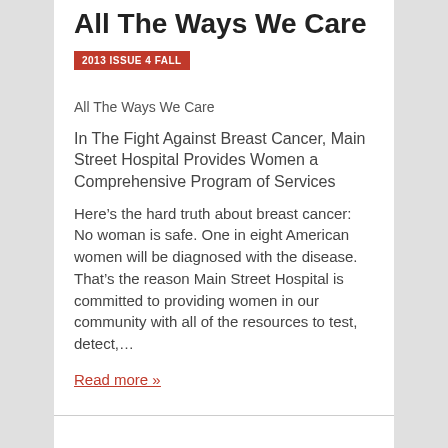All The Ways We Care
2013 ISSUE 4 FALL
All The Ways We Care
In The Fight Against Breast Cancer, Main Street Hospital Provides Women a Comprehensive Program of Services
Here’s the hard truth about breast cancer: No woman is safe. One in eight American women will be diagnosed with the disease. That’s the reason Main Street Hospital is committed to providing women in our community with all of the resources to test, detect,…
Read more »